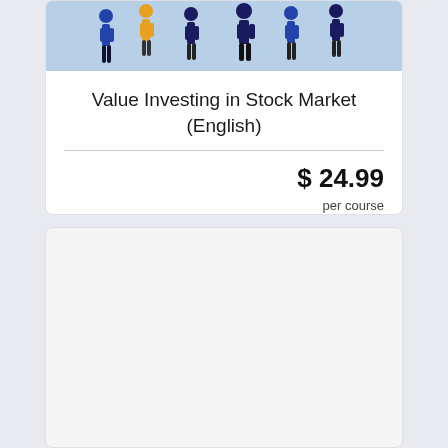[Figure (illustration): Banner image showing stylized silhouettes of people walking, on a light blue background]
Value Investing in Stock Market (English)
$ 24.99
per course
See details
Go to Course
[Figure (illustration): Blank/empty image area for second course card]
Value Investing - Step by Step Beginners Investing Pt 2 of 2...